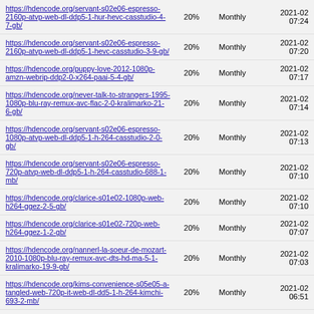| URL | % | Frequency | Date |
| --- | --- | --- | --- |
| https://hdencode.org/servant-s02e06-espresso-2160p-atvp-web-dl-ddp5-1-hur-hevc-casstudio-4-7-gb/ | 20% | Monthly | 2021-02 07:24 |
| https://hdencode.org/servant-s02e06-espresso-2160p-atvp-web-dl-ddp5-1-hevc-casstudio-3-9-gb/ | 20% | Monthly | 2021-02 07:20 |
| https://hdencode.org/puppy-love-2012-1080p-amzn-webrip-ddp2-0-x264-paai-5-4-gb/ | 20% | Monthly | 2021-02 07:17 |
| https://hdencode.org/never-talk-to-strangers-1995-1080p-blu-ray-remux-avc-flac-2-0-kralimarko-21-6-gb/ | 20% | Monthly | 2021-02 07:14 |
| https://hdencode.org/servant-s02e06-espresso-1080p-atvp-web-dl-ddp5-1-h-264-casstudio-2-0-gb/ | 20% | Monthly | 2021-02 07:13 |
| https://hdencode.org/servant-s02e06-espresso-720p-atvp-web-dl-ddp5-1-h-264-casstudio-688-1-mb/ | 20% | Monthly | 2021-02 07:10 |
| https://hdencode.org/clarice-s01e02-1080p-web-h264-ggez-2-5-gb/ | 20% | Monthly | 2021-02 07:10 |
| https://hdencode.org/clarice-s01e02-720p-web-h264-ggez-1-2-gb/ | 20% | Monthly | 2021-02 07:07 |
| https://hdencode.org/nannerl-la-soeur-de-mozart-2010-1080p-blu-ray-remux-avc-dts-hd-ma-5-1-kralimarko-19-9-gb/ | 20% | Monthly | 2021-02 07:03 |
| https://hdencode.org/kims-convenience-s05e05-a-tangled-web-720p-it-web-dl-dd5-1-h-264-kimchi-693-2-mb/ | 20% | Monthly | 2021-02 06:51 |
| https://hdencode.org/kims-convenience-s05e05-a-tangled-web-1080p-it-web-dl-dd5-1-h-264-kimchi-874-5-mb/ | 20% | Monthly | 2021-02 06:48 |